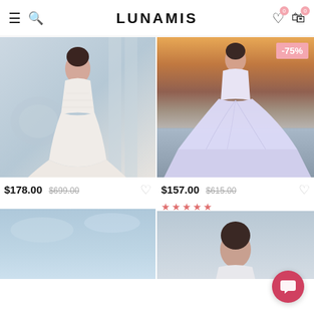LUNAMIS
[Figure (photo): Woman in white lace mermaid wedding dress in a classical interior setting]
$178.00  $699.00
[Figure (photo): Woman in light purple/lavender ball gown wedding dress on a beach at sunset with -75% discount badge]
$157.00  $615.00
2 Reviews
[Figure (photo): Blue sky background, partial dress view at bottom]
[Figure (photo): Woman in wedding dress, head and shoulders visible, grey background]